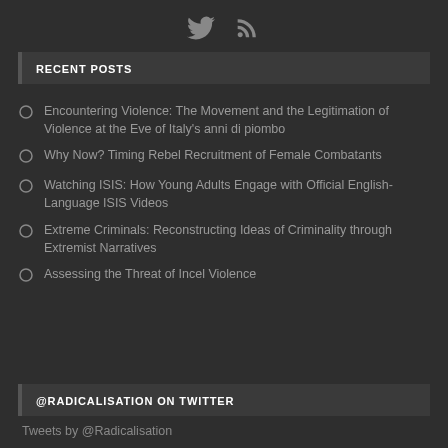[Figure (illustration): Twitter bird icon and RSS feed icon in gray]
RECENT POSTS
Encountering Violence: The Movement and the Legitimation of Violence at the Eve of Italy's anni di piombo
Why Now? Timing Rebel Recruitment of Female Combatants
Watching ISIS: How Young Adults Engage with Official English-Language ISIS Videos
Extreme Criminals: Reconstructing Ideas of Criminality through Extremist Narratives
Assessing the Threat of Incel Violence
@RADICALISATION ON TWITTER
Tweets by @Radicalisation